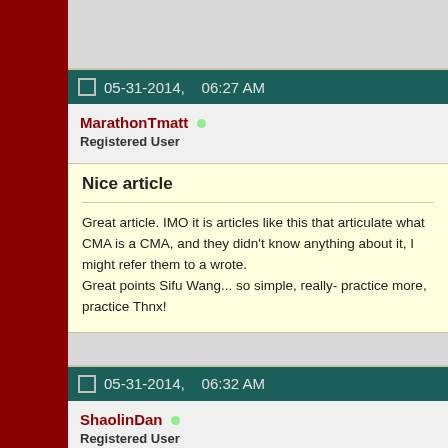05-31-2014, 06:27 AM
MarathonTmatt
Registered User
Nice article
Great article. IMO it is articles like this that articulate what CMA is a CMA, and they didn't know anything about it, I might refer them to a wrote.
Great points Sifu Wang... so simple, really- practice more, practice Thnx!
05-31-2014, 06:32 AM
ShaolinDan
Registered User
MightyB has gotten so mature since I joined this sight. 😁 (I think w